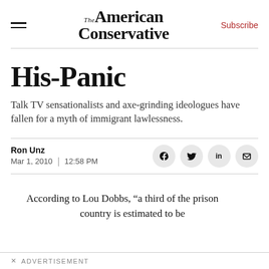The American Conservative | Subscribe
His-Panic
Talk TV sensationalists and axe-grinding ideologues have fallen for a myth of immigrant lawlessness.
Ron Unz
Mar 1, 2010 | 12:58 PM
According to Lou Dobbs, “a third of the prison [population in this] country is estimated to be